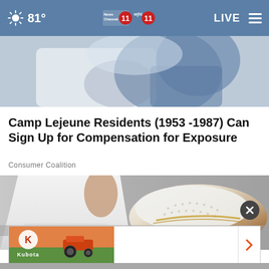81° News Channel 11 wjhl 11 LIVE
[Figure (photo): Close-up photo of person wearing blue denim clothing, upper body cropped]
Camp Lejeune Residents (1953 -1987) Can Sign Up for Compensation for Exposure
Consumer Coalition
[Figure (photo): Close-up photo of person wearing white pants and a white/tan perforated slip-on shoe with gold dot details, walking on pavement]
[Figure (infographic): Advertisement banner for Kubota with orange Kubota logo on left, white center area, and orange chevron arrow on right]